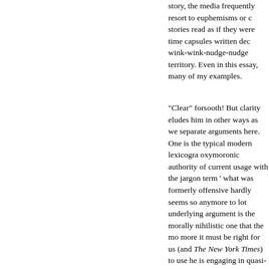story, the media frequently resort to euphemisms or c stories read as if they were time capsules written dec wink-wink-nudge-nudge territory. Even in this essay, many of my examples.
"Clear" forsooth! But clarity eludes him in other ways as we separate arguments here. One is the typical modern lexicogra oxymoronic authority of current usage with the jargon term ' what was formerly offensive hardly seems so anymore to lot underlying argument is the morally nihilistic one that the mo more it must be right for us (and The New York Times) to use he is engaging in quasi-moral reasoning based on the idea of necessary to the understanding of a story." In all the example circumlocutory ingenuity (or lack of it) by the Times or othe newsmakers who use vulgar, obscene, profane or offensive la involving "understanding" is one in which the author decline at all, though she could have done so in circumlocutory term down to some equivalent of "an expletive was used." What i would result from the expletive's actually being named seem comparison to the immense potential for coarsening of our p
But then I suppose the champion of current usage would onl coarse is the way things are going these days — and in the p coarse because it's becoming more familiar. It's the next ste reasoning, that therefore the Times must keep up with the tim me. Mr Sheidlower appears to consider it axiomatic that any been written decades ago amounts to a scandal against the w question of whether the writing is otherwise good or bad. Bu from those who frown upon any standard but that of curren